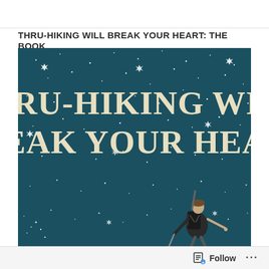THRU-HIKING WILL BREAK YOUR HEART: THE BOOK
[Figure (illustration): Book cover illustration showing a dark teal/blue night sky filled with stars and small star shapes. Large cream/ivory bold text reads 'THRU-HIKING WILL BREAK YOUR HEART'. In the lower right, an illustrated figure of a hiker with a large backpack and trekking pole stands with arms spread open, looking upward at the night sky.]
Follow